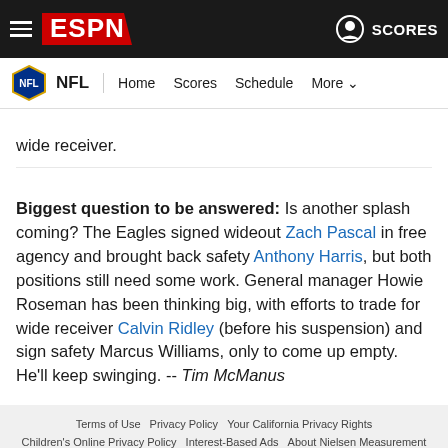ESPN - NFL | Home Scores Schedule More
wide receiver.
Biggest question to be answered: Is another splash coming? The Eagles signed wideout Zach Pascal in free agency and brought back safety Anthony Harris, but both positions still need some work. General manager Howie Roseman has been thinking big, with efforts to trade for wide receiver Calvin Ridley (before his suspension) and sign safety Marcus Williams, only to come up empty. He'll keep swinging. -- Tim McManus
Terms of Use  Privacy Policy  Your California Privacy Rights  Children's Online Privacy Policy  Interest-Based Ads  About Nielsen Measurement  Do Not Sell My Info  Contact Us  Disney Ad Sales Site  Work for ESPN  Copyright: © ESPN Enterprises, Inc. All rights reserved.